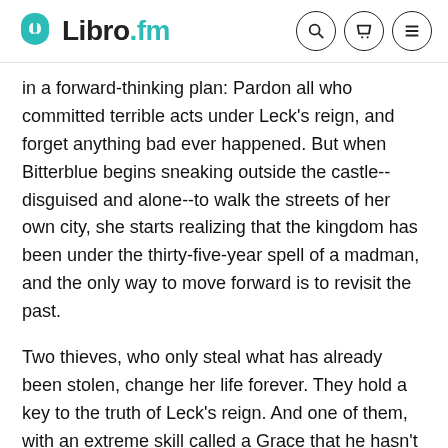Libro.fm
in a forward-thinking plan: Pardon all who committed terrible acts under Leck's reign, and forget anything bad ever happened. But when Bitterblue begins sneaking outside the castle--disguised and alone--to walk the streets of her own city, she starts realizing that the kingdom has been under the thirty-five-year spell of a madman, and the only way to move forward is to revisit the past.
Two thieves, who only steal what has already been stolen, change her life forever. They hold a key to the truth of Leck's reign. And one of them, with an extreme skill called a Grace that he hasn't yet identified, holds a key to her heart.
Fantasy
YA Fiction